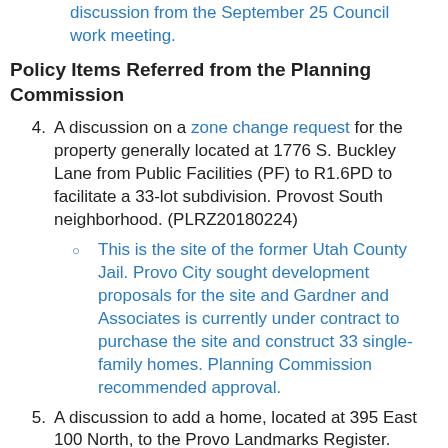discussion from the September 25 Council work meeting.
Policy Items Referred from the Planning Commission
4. A discussion on a zone change request for the property generally located at 1776 S. Buckley Lane from Public Facilities (PF) to R1.6PD to facilitate a 33-lot subdivision. Provost South neighborhood. (PLRZ20180224)
This is the site of the former Utah County Jail. Provo City sought development proposals for the site and Gardner and Associates is currently under contract to purchase the site and construct 33 single-family homes. Planning Commission recommended approval.
5. A discussion to add a home, located at 395 East 100 North, to the Provo Landmarks Register. Joaquin Neighborhood. (PLLN20180305)
Scott and Whitney Christopherson have